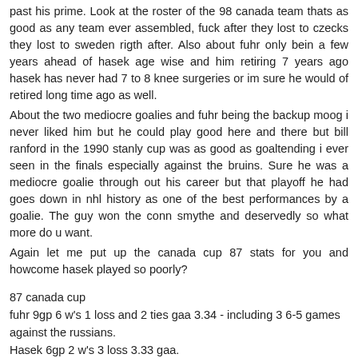past his prime. Look at the roster of the 98 canada team thats as good as any team ever assembled, fuck after they lost to czecks they lost to sweden rigth after. Also about fuhr only bein a few years ahead of hasek age wise and him retiring 7 years ago hasek has never had 7 to 8 knee surgeries or im sure he would of retired long time ago as well.
About the two mediocre goalies and fuhr being the backup moog i never liked him but he could play good here and there but bill ranford in the 1990 stanly cup was as good as goaltending i ever seen in the finals especially against the bruins. Sure he was a mediocre goalie through out his career but that playoff he had goes down in nhl history as one of the best performances by a goalie. The guy won the conn smythe and deservedly so what more do u want.
Again let me put up the canada cup 87 stats for you and howcome hasek played so poorly?
87 canada cup
fuhr 9gp 6 w's 1 loss and 2 ties gaa 3.34 - including 3 6-5 games against the russians.
Hasek 6gp 2 w's 3 loss 3.33 gaa.
Save percentage